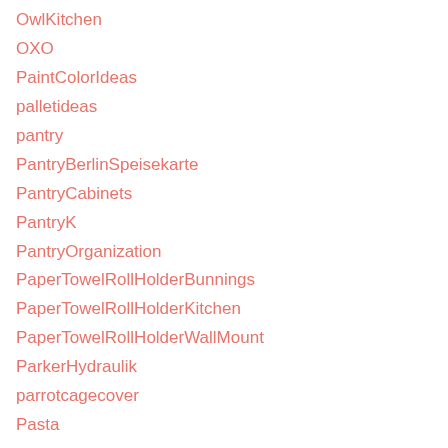OwlKitchen
OXO
PaintColorIdeas
palletideas
pantry
PantryBerlinSpeisekarte
PantryCabinets
PantryK
PantryOrganization
PaperTowelRollHolderBunnings
PaperTowelRollHolderKitchen
PaperTowelRollHolderWallMount
ParkerHydraulik
parrotcagecover
Pasta